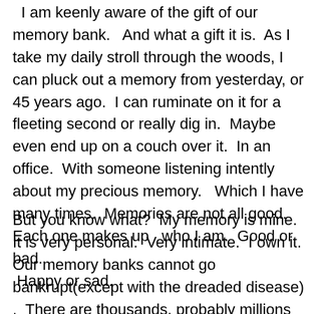I am keenly aware of the gift of our memory bank.  And what a gift it is.  As I take my daily stroll through the woods, I can pluck out a memory from yesterday, or 45 years ago.  I can ruminate on it for a fleeting second or really dig in.  Maybe even end up on a couch over it.  In an office.  With someone listening intently about my precious memory.   Which I have many times.  Memories are not all good.  Each one makes up  who I am.  Good or bad.  Happy or sad.
But you know what?  My memory is mine.  It is very personal.  Very intimate.  I own it.  Our memory banks cannot go bankrupt(except with the dreaded disease) .  There are thousands, probably millions of them  at my disposal.  We can bask in our memories.  When you think about it (as deeply as I tend to think) it is  incredible that